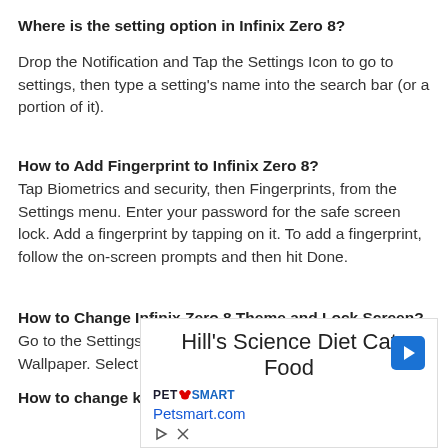Where is the setting option in Infinix Zero 8?
Drop the Notification and Tap the Settings Icon to go to settings, then type a setting's name into the search bar (or a portion of it).
How to Add Fingerprint to Infinix Zero 8?
Tap Biometrics and security, then Fingerprints, from the Settings menu. Enter your password for the safe screen lock. Add a fingerprint by tapping on it. To add a fingerprint, follow the on-screen prompts and then hit Done.
How to Change Infinix Zero 8 Theme and Lock Screen?
Go to the Settings menu, select a Home Screen and Wallpaper. Select Set Theme from the drop-down menu.
How to change keyboard language in Infinix Zero 8?
[Figure (infographic): PetSmart advertisement for Hill's Science Diet Cat Food with PetSmart logo, navigation arrow icon, Petsmart.com link, play and close buttons]